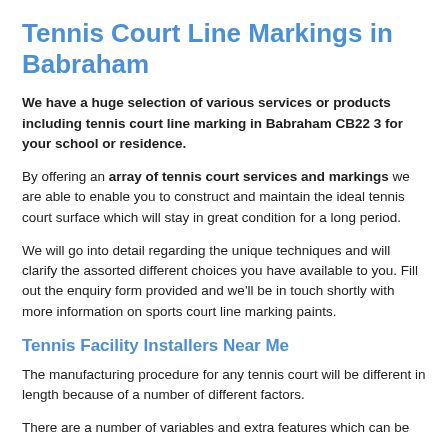Tennis Court Line Markings in Babraham
We have a huge selection of various services or products including tennis court line marking in Babraham CB22 3 for your school or residence.
By offering an array of tennis court services and markings we are able to enable you to construct and maintain the ideal tennis court surface which will stay in great condition for a long period.
We will go into detail regarding the unique techniques and will clarify the assorted different choices you have available to you. Fill out the enquiry form provided and we'll be in touch shortly with more information on sports court line marking paints.
Tennis Facility Installers Near Me
The manufacturing procedure for any tennis court will be different in length because of a number of different factors.
There are a number of variables and extra features which can be